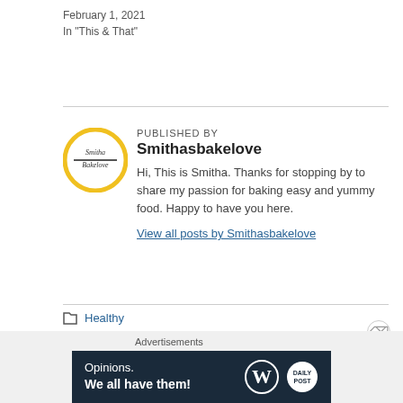February 1, 2021
In "This & That"
[Figure (logo): Smithasbakelove circular logo with yellow circle border]
PUBLISHED BY
Smithasbakelove
Hi, This is Smitha. Thanks for stopping by to share my passion for baking easy and yummy food. Happy to have you here.
View all posts by Smithasbakelove
Healthy
achieve, blog, celebrate, comment, follow, goals, like
71 Comments
[Figure (infographic): WordPress advertisement banner: Opinions. We all have them! with WordPress and Daily Post logos]